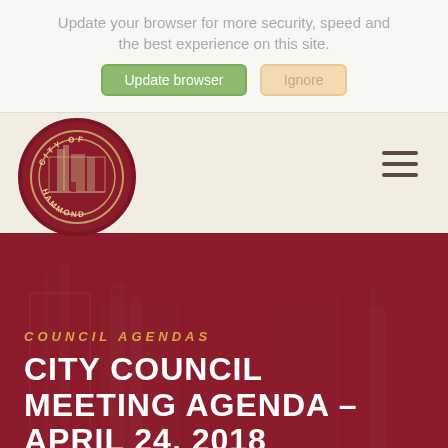Update your browser for more security, speed and the best experience on this site.
Update browser   Ignore
[Figure (logo): City of Hammond circular seal logo with building illustration, maroon background]
[Figure (other): Hamburger menu icon (three horizontal lines)]
COUNCIL AGENDAS
CITY COUNCIL MEETING AGENDA – APRIL 24, 2018
April 23, 2018